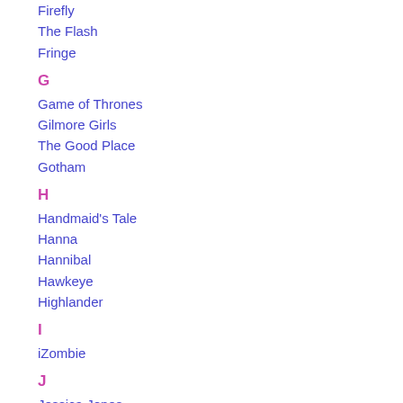Firefly
The Flash
Fringe
G
Game of Thrones
Gilmore Girls
The Good Place
Gotham
H
Handmaid's Tale
Hanna
Hannibal
Hawkeye
Highlander
I
iZombie
J
Jessica Jones
Justified
L